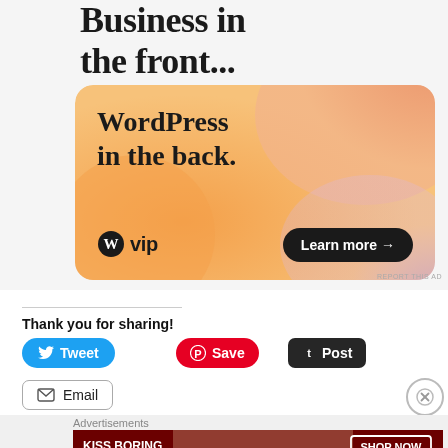[Figure (illustration): WordPress VIP advertisement banner. Top section shows text 'Business in the front...' on light gray background. Inner orange-to-pink gradient rounded rectangle with text 'WordPress in the back.' and WordPress VIP logo on the left, 'Learn more →' dark button on the right.]
REPORT THIS AD
Thank you for sharing!
Tweet
Save
Post
Email
[Figure (illustration): Macy's advertisement banner showing 'KISS BORING LIPS GOODBYE' text with a woman's face and red lips. 'SHOP NOW' button in white border box and Macy's star logo on the right side.]